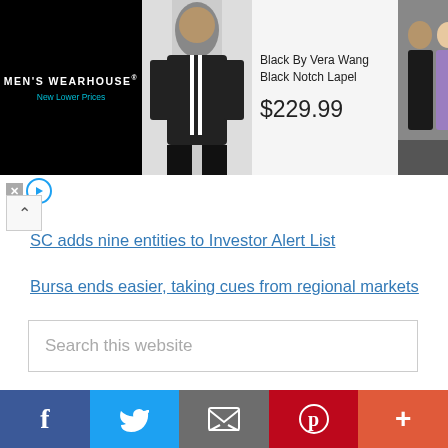[Figure (screenshot): Men's Wearhouse advertisement banner showing Black By Vera Wang Black Notch Lapel tuxedo for $229.99, with product image and couple photo]
SC adds nine entities to Investor Alert List
Bursa ends easier, taking cues from regional markets
Search this website
Sponsored Links
[Figure (infographic): Social sharing bar with Facebook, Twitter, Email, Pinterest, and More buttons]